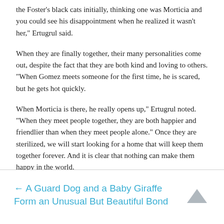the Foster's black cats initially, thinking one was Morticia and you could see his disappointment when he realized it wasn't her," Ertugrul said.
When they are finally together, their many personalities come out, despite the fact that they are both kind and loving to others. "When Gomez meets someone for the first time, he is scared, but he gets hot quickly.
When Morticia is there, he really opens up," Ertugrul noted. "When they meet people together, they are both happier and friendlier than when they meet people alone." Once they are sterilized, we will start looking for a home that will keep them together forever. And it is clear that nothing can make them happy in the world.
← A Guard Dog and a Baby Giraffe Form an Unusual But Beautiful Bond